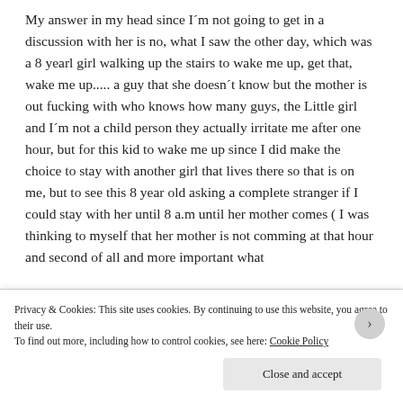My answer in my head since I´m not going to get in a discussion with her is no, what I saw the other day, which was a 8 yearl girl walking up the stairs to wake me up, get that, wake me up..... a guy that she doesn´t know but the mother is out fucking with who knows how many guys, the Little girl and I´m not a child person they actually irritate me after one hour, but for this kid to wake me up since I did make the choice to stay with another girl that lives there so that is on me, but to see this 8 year old asking a complete stranger if I could stay with her until 8 a.m until her mother comes ( I was thinking to myself that her mother is not comming at that hour and second of all and more important what
Privacy & Cookies: This site uses cookies. By continuing to use this website, you agree to their use.
To find out more, including how to control cookies, see here: Cookie Policy